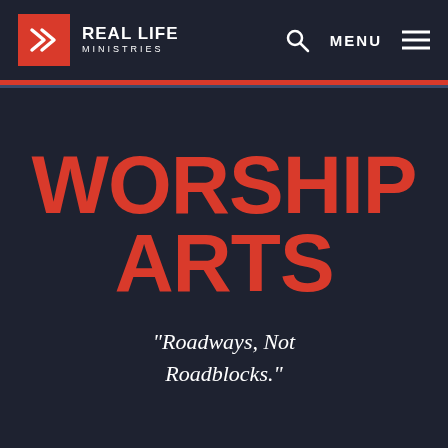Real Life Ministries — MENU
WORSHIP ARTS
"Roadways, Not Roadblocks."